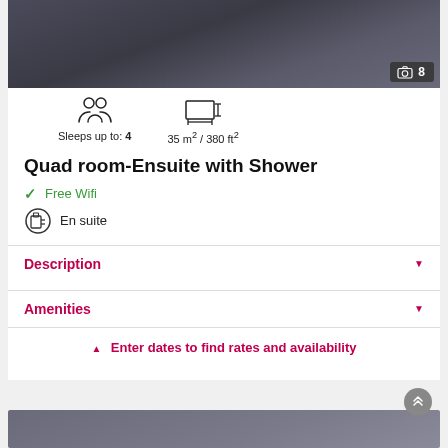[Figure (photo): Hotel room photo showing dark carpet and bed, with a camera icon badge showing '8' photos]
Sleeps up to: 4   35 m² / 380 ft²
Quad room-Ensuite with Shower
✓ Free Wifi
En suite
Description
Amenities
▲ Enter dates to find rates and availability
[Figure (photo): Partial photo of another hotel room at bottom of page]